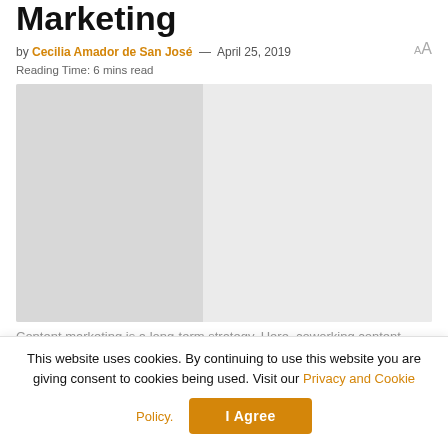Marketing
by Cecilia Amador de San José — April 25, 2019
Reading Time: 6 mins read
[Figure (photo): A placeholder image with light grey tones, representing a coworking or content marketing related photo.]
Content marketing is a long-term strategy. Here, coworking content expert Cat Johnson shares her top 13 tips to help
This website uses cookies. By continuing to use this website you are giving consent to cookies being used. Visit our Privacy and Cookie Policy.